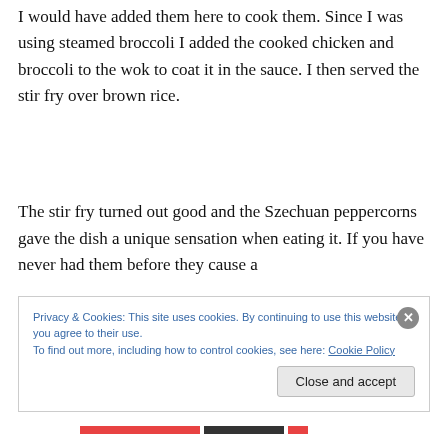I would have added them here to cook them. Since I was using steamed broccoli I added the cooked chicken and broccoli to the wok to coat it in the sauce. I then served the stir fry over brown rice.
The stir fry turned out good and the Szechuan peppercorns gave the dish a unique sensation when eating it. If you have never had them before they cause a
[Figure (screenshot): Cookie consent banner overlay with text: 'Privacy & Cookies: This site uses cookies. By continuing to use this website, you agree to their use. To find out more, including how to control cookies, see here: Cookie Policy' with a 'Close and accept' button and an X close button.]